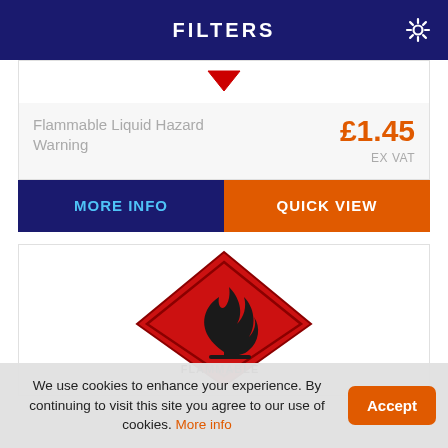FILTERS
Flammable Liquid Hazard Warning
£1.45
EX VAT
MORE INFO
QUICK VIEW
[Figure (illustration): Flammable hazard warning diamond sign — red diamond with black flame symbol and text FLAMMABLE at bottom]
We use cookies to enhance your experience. By continuing to visit this site you agree to our use of cookies. More info